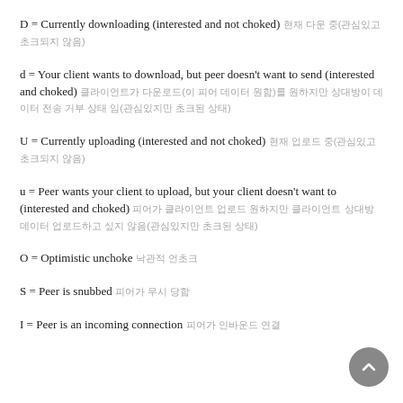D = Currently downloading (interested and not choked) 현재 다운 중(관심있고 초크되지 않음)
d = Your client wants to download, but peer doesn't want to send (interested and choked) 클라이언트가 다운로드(이 피어 데이터 원함)를 원하지만 상대방이 데이터 전송 거부 상태 임(관심있지만 초크된 상태)
U = Currently uploading (interested and not choked) 현재 업로드 중(관심있고 초크되지 않음)
u = Peer wants your client to upload, but your client doesn't want to (interested and choked) 피어가 클라이언트 업로드 원하지만 클라이언트 상대방 데이터 업로드하고 싶지 않음(관심있지만 초크된 상태)
O = Optimistic unchoke 낙관적 언초크
S = Peer is snubbed 피어가 무시 당함
I = Peer is an incoming connection 피어가 인바운드 연결